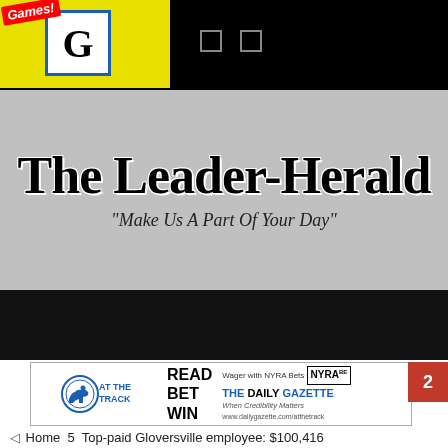[Figure (logo): Games! logo badge with yellow background and G letter icon in blue-bordered box]
The Leader-Herald
"Make Us A Part Of Your Day"
[Figure (infographic): Ad banner: AT THE TRACK horse racing publication. READ BET WIN. Wager with NYRA Bets NYRA logo. THE DAILY GAZETTE When Credibility Matters www.dailygazette.com/atthetrack]
Home  5  Top-paid Gloversville employee: $100,416